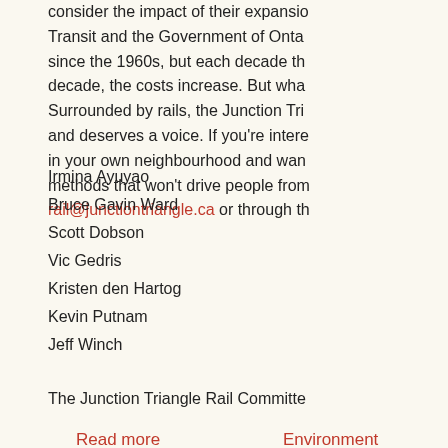consider the impact of their expansion on Transit and the Government of Ontario since the 1960s, but each decade the decade, the costs increase. But wha Surrounded by rails, the Junction Tri and deserves a voice. If you're intere in your own neighbourhood and wan methods that won't drive people fro rail@junctiontriangle.ca or through th
Irmina Ayuyao
Bruce Gavin Ward
Scott Dobson
Vic Gedris
Kristen den Hartog
Kevin Putnam
Jeff Winch
The Junction Triangle Rail Committe
Read more        Environment